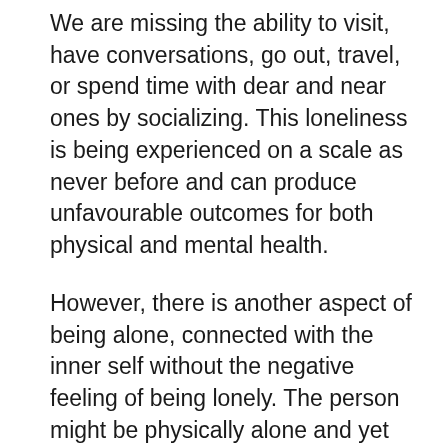We are missing the ability to visit, have conversations, go out, travel, or spend time with dear and near ones by socializing. This loneliness is being experienced on a scale as never before and can produce unfavourable outcomes for both physical and mental health.
However, there is another aspect of being alone, connected with the inner self without the negative feeling of being lonely. The person might be physically alone and yet not feel isolated if there is a connection with the inner self.
Being alone gives us an opportunity to go deeper within, by practicing